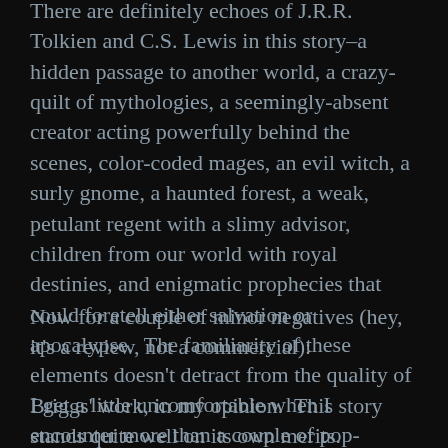There are definitely echoes of J.R.R. Tolkien and C.S. Lewis in this story–a hidden passage to another world, a crazy-quilt of mythologies, a seemingly-absent creator acting powerfully behind the scenes, color-coded mages, an evil witch, a surly gnome, a haunted forest, a weak, petulant regent with a slimy advisor, children from our world with royal destinies, and enigmatic prophecies that could foretell either salvation or apocalypse.  The familiarity of these elements doesn't detract from the quality of Briggs' work, in my opinion.  This story stands quite well on its own merits.
Now for a couple of minor negatives (hey, it's a review, not a commercial):
I get a little uncomfortable when I encounter more than a couple of pop-culture references in a story.